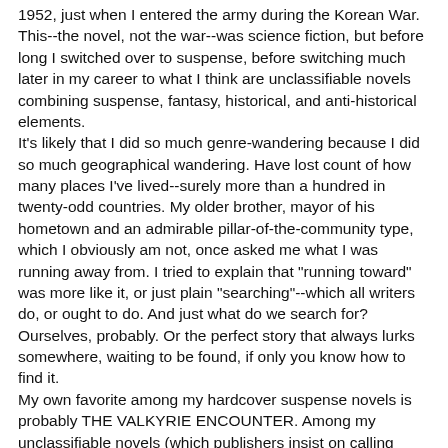1952, just when I entered the army during the Korean War. This--the novel, not the war--was science fiction, but before long I switched over to suspense, before switching much later in my career to what I think are unclassifiable novels combining suspense, fantasy, historical, and anti-historical elements.
It's likely that I did so much genre-wandering because I did so much geographical wandering. Have lost count of how many places I've lived--surely more than a hundred in twenty-odd countries. My older brother, mayor of his hometown and an admirable pillar-of-the-community type, which I obviously am not, once asked me what I was running away from. I tried to explain that "running toward" was more like it, or just plain "searching"--which all writers do, or ought to do. And just what do we search for? Ourselves, probably. Or the perfect story that always lurks somewhere, waiting to be found, if only you know how to find it.
My own favorite among my hardcover suspense novels is probably THE VALKYRIE ENCOUNTER. Among my unclassifiable novels (which publishers insist on calling literary novels: more about this later), it's either THE LIGHTHOUSE AT THE END OF THE WORLD or THE